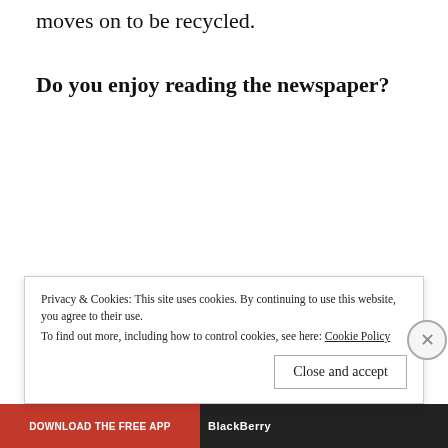moves on to be recycled.
Do you enjoy reading the newspaper?
nimi naren / September 22, 2016 / Everyday moments / advertisements, articles, editorial, morning ritual, newspaper, print media, reading, simple joys / 14 Comments
Privacy & Cookies: This site uses cookies. By continuing to use this website, you agree to their use.
To find out more, including how to control cookies, see here: Cookie Policy
Close and accept